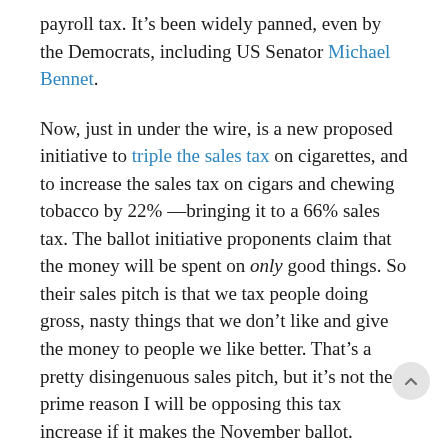payroll tax. It’s been widely panned, even by the Democrats, including US Senator Michael Bennet.
Now, just in under the wire, is a new proposed initiative to triple the sales tax on cigarettes, and to increase the sales tax on cigars and chewing tobacco by 22% —bringing it to a 66% sales tax. The ballot initiative proponents claim that the money will be spent on only good things. So their sales pitch is that we tax people doing gross, nasty things that we don’t like and give the money to people we like better. That’s a pretty disingenuous sales pitch, but it’s not the prime reason I will be opposing this tax increase if it makes the November ballot.
I’ve written plenty on the past about my opposition to tax increases and the big government that new taxes help to fund. I make the case in my book